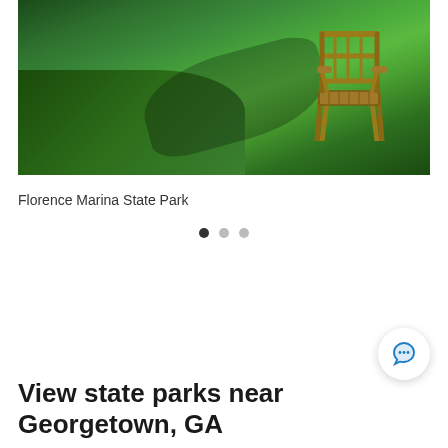[Figure (photo): Photograph of a wooden chair sitting on a green grassy lawn with trees and shrubs in the background, taken at Florence Marina State Park]
Florence Marina State Park
[Figure (other): Carousel navigation dots: one dark active dot and two lighter inactive dots]
View state parks near Georgetown, GA